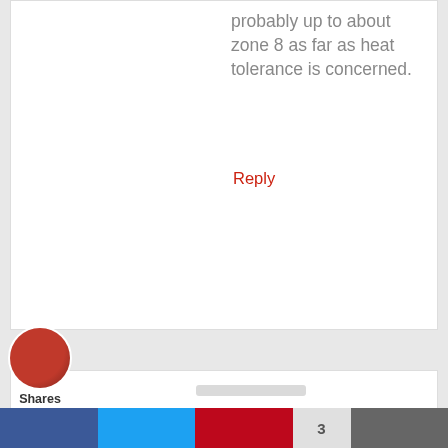probably up to about zone 8 as far as heat tolerance is concerned.
Reply
[Figure (screenshot): A popup modal overlay on a gardening blog page with the heading 'Hey there, 👋', subtext 'Would you like me to send you 10 FREE Gardening Gifts?', and an orange button labeled 'YES, PLEASE!']
YES, PLEASE!
Shares